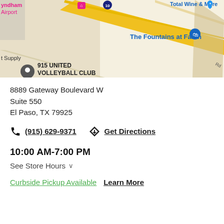[Figure (map): Google Maps screenshot showing 915 United Volleyball Club at The Fountains at Farah area, El Paso TX, with road intersections and nearby landmarks including Total Wine & More and Wyndham Airport hotel.]
8889 Gateway Boulevard W
Suite 550
El Paso, TX 79925
(915) 629-9371  Get Directions
10:00 AM-7:00 PM
See Store Hours
Curbside Pickup Available    Learn More